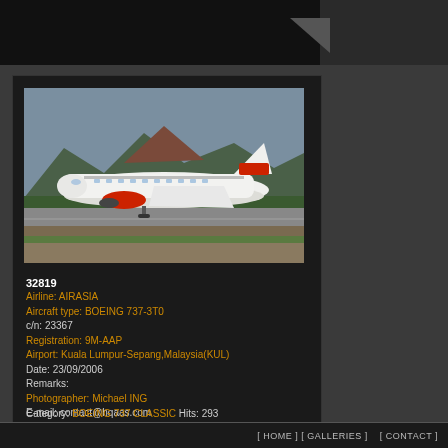[Figure (photo): AirAsia Boeing 737-3T0 with special livery (decorative markings/text on fuselage) taxiing on runway at Kuala Lumpur-Sepang airport, with green hills/mountains in background. Red AirAsia logo on engine. White aircraft.]
32819
Airline: AIRASIA
Aircraft type: BOEING 737-3T0
c/n: 23367
Registration: 9M-AAP
Airport: Kuala Lumpur-Sepang,Malaysia(KUL)
Date: 23/09/2006
Remarks:
Photographer: Michael ING
E-mail: contact@hqaas.com
Category: BOEING 737 CLASSIC Hits: 293
[ HOME ] [ GALLERIES ]    [ CONTACT ]